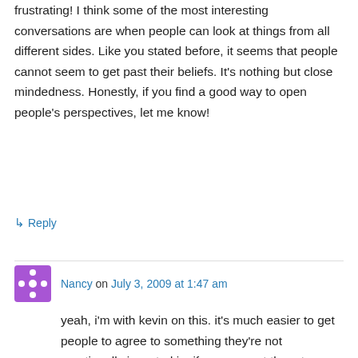frustrating! I think some of the most interesting conversations are when people can look at things from all different sides. Like you stated before, it seems that people cannot seem to get past their beliefs. It's nothing but close mindedness. Honestly, if you find a good way to open people's perspectives, let me know!
↳ Reply
Nancy on July 3, 2009 at 1:47 am
yeah, i'm with kevin on this. it's much easier to get people to agree to something they're not emotionally invested in. if you can get them to agree to the formula using something they don't care about, then you stand a better chance of